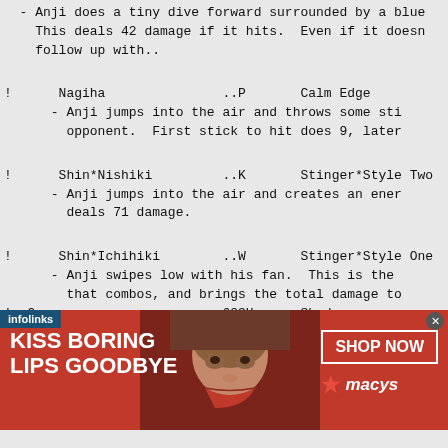- Anji does a tiny dive forward surrounded by a blue
    This deals 42 damage if it hits.  Even if it doesn
    follow up with..
!      Nagiha               ..P       Calm Edge
      - Anji jumps into the air and throws some sti
        opponent.  First stick to hit does 9, later
!      Shin*Nishiki         ..K       Stinger*Style Two
      - Anji jumps into the air and creates an ener
        deals 71 damage.
!      Shin*Ichihiki        ..W       Stinger*Style One
      - Anji swipes low with his fan.  This is the
        that combos, and brings the total damage to
!  On                       623H      Shadow
   - Anji jumps up to try and catch the opponent in the
     succeeds, he traps them in a huge fan and shocks t
     damage.
!  Kai                      214P/K    Commandment
   - Anji jumps forward and performs a stomp.  P is sho
     g.  25 damage.
[Figure (infographic): Red advertisement banner for Macy's lip products. Left side shows bold white text 'KISS BORING LIPS GOODBYE'. Center shows a model's face with red lipstick. Right side shows 'SHOP NOW' button and Macy's star logo. Infolinks label in top-left corner, close button in top-right.]